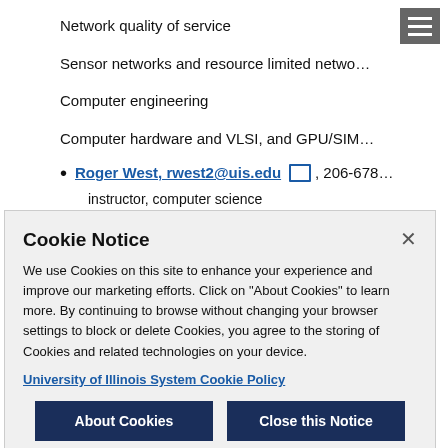Network quality of service
Sensor networks and resource limited netwo…
Computer engineering
Computer hardware and VLSI, and GPU/SIM…
Roger West, rwest2@uis.edu, 206-678…
instructor, computer science
Cookie Notice
We use Cookies on this site to enhance your experience and improve our marketing efforts. Click on "About Cookies" to learn more. By continuing to browse without changing your browser settings to block or delete Cookies, you agree to the storing of Cookies and related technologies on your device.
University of Illinois System Cookie Policy
About Cookies
Close this Notice